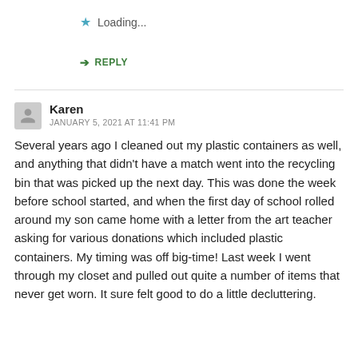★ Loading...
➜ REPLY
Karen
JANUARY 5, 2021 AT 11:41 PM
Several years ago I cleaned out my plastic containers as well, and anything that didn't have a match went into the recycling bin that was picked up the next day. This was done the week before school started, and when the first day of school rolled around my son came home with a letter from the art teacher asking for various donations which included plastic containers. My timing was off big-time! Last week I went through my closet and pulled out quite a number of items that never get worn. It sure felt good to do a little decluttering.